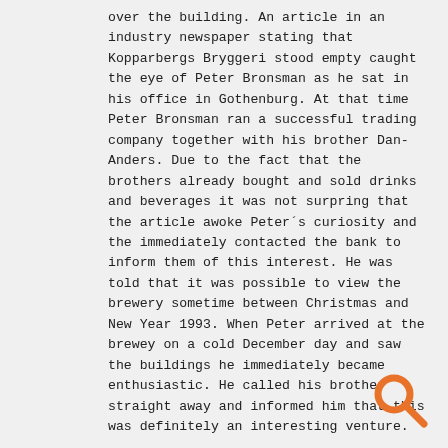over the building. An article in an industry newspaper stating that Kopparbergs Bryggeri stood empty caught the eye of Peter Bronsman as he sat in his office in Gothenburg. At that time Peter Bronsman ran a successful trading company together with his brother Dan-Anders. Due to the fact that the brothers already bought and sold drinks and beverages it was not surpring that the article awoke Peter´s curiosity and the immediately contacted the bank to inform them of this interest. He was told that it was possible to view the brewery sometime between Christmas and New Year 1993. When Peter arrived at the brewey on a cold December day and saw the buildings he immediately became enthusiastic. He called his brother straight away and informed him that this was definitely an interesting venture.
[Figure (logo): Orange search/magnifying glass icon in bottom-right corner]